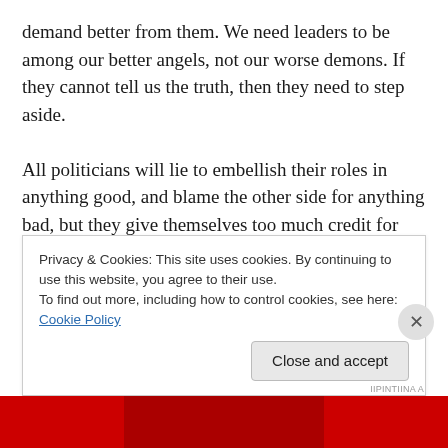demand better from them. We need leaders to be among our better angels, not our worse demons. If they cannot tell us the truth, then they need to step aside.

All politicians will lie to embellish their roles in anything good, and blame the other side for anything bad, but they give themselves too much credit for influence. Yet, we have one party, in particular, whom a conservative pundit named Michael Gerson said is in “decay” because it is untethered to the truth and lawfulness. Republicans cannot vilify their truth tellers and exalt their liars and be
Privacy & Cookies: This site uses cookies. By continuing to use this website, you agree to their use.
To find out more, including how to control cookies, see here: Cookie Policy